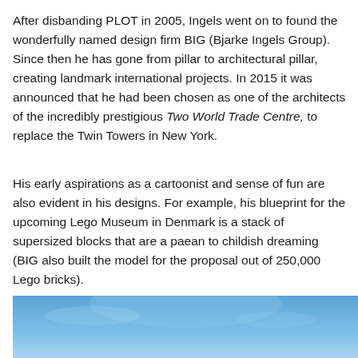After disbanding PLOT in 2005, Ingels went on to found the wonderfully named design firm BIG (Bjarke Ingels Group). Since then he has gone from pillar to architectural pillar, creating landmark international projects. In 2015 it was announced that he had been chosen as one of the architects of the incredibly prestigious Two World Trade Centre, to replace the Twin Towers in New York.
His early aspirations as a cartoonist and sense of fun are also evident in his designs. For example, his blueprint for the upcoming Lego Museum in Denmark is a stack of supersized blocks that are a paean to childish dreaming (BIG also built the model for the proposal out of 250,000 Lego bricks).
[Figure (photo): Partial photo showing a blue sky, cropped at the bottom of the page.]